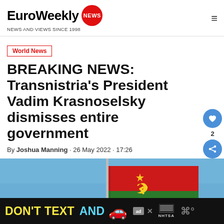EuroWeekly NEWS — NEWS AND VIEWS SINCE 1998
World News
BREAKING NEWS: Transnistria's President Vadim Krasnoselsky dismisses entire government
By Joshua Manning · 26 May 2022 · 17:26
[Figure (photo): Transnistria flag waving against a blue sky, red-green-red horizontal stripes with Soviet hammer and sickle emblem, on a flagpole]
DON'T TEXT AND [car emoji] ad NHTSA